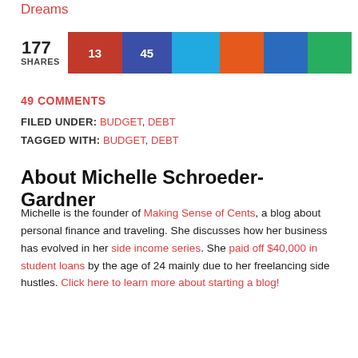Dreams
[Figure (infographic): Social share bar showing 177 shares with colored share buttons: red (13), purple (45), light blue, orange, dark blue, green]
49 COMMENTS
FILED UNDER: BUDGET, DEBT
TAGGED WITH: BUDGET, DEBT
About Michelle Schroeder-Gardner
Michelle is the founder of Making Sense of Cents, a blog about personal finance and traveling. She discusses how her business has evolved in her side income series. She paid off $40,000 in student loans by the age of 24 mainly due to her freelancing side hustles. Click here to learn more about starting a blog!